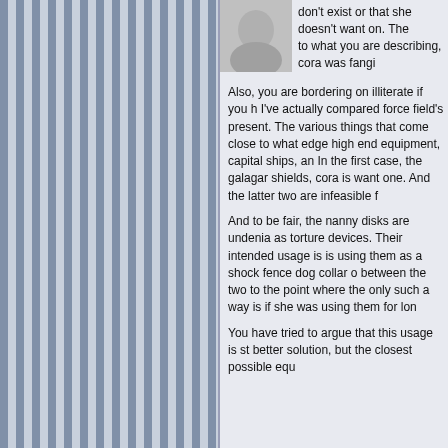don't exist or that she doesn't want on. The to what you are describing, cora was fangi

Also, you are bordering on illiterate if you h I've actually compared force field's present. The various things that come close to what edge high end equipment, capital ships, an In the first case, the galagar shields, cora is want one. And the latter two are infeasible f

And to be fair, the nanny disks are undenia as torture devices. Their intended usage is is using them as a shock fence dog collar o between the two to the point where the only such a way is if she was using them for lon

You have tried to argue that this usage is st better solution, but the closest possible equ
AlyxVixen    January 12, 2021, 7:30 pm | Reply
https://www.grrlpowercomic.com/archives/comi pants-down/
That top of the line force field still failed to stop crushing the owner's ribs. Yes, it's Brut, but he meat hand with a knuckleduster.

As for the sword grab, you seem to have forgot her defenses kicked it and captured it in her leg removed, even it it was hard light, which would